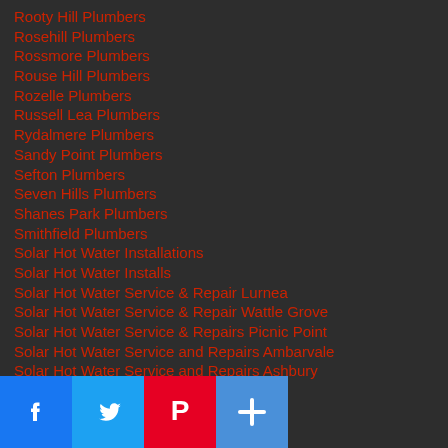Rooty Hill Plumbers
Rosehill Plumbers
Rossmore Plumbers
Rouse Hill Plumbers
Rozelle Plumbers
Russell Lea Plumbers
Rydalmere Plumbers
Sandy Point Plumbers
Sefton Plumbers
Seven Hills Plumbers
Shanes Park Plumbers
Smithfield Plumbers
Solar Hot Water Installations
Solar Hot Water Installs
Solar Hot Water Service & Repair Lurnea
Solar Hot Water Service & Repair Wattle Grove
Solar Hot Water Service & Repairs Picnic Point
Solar Hot Water Service and Repairs Ambarvale
Solar Hot Water Service and Repairs Ashbury
[Figure (other): Social media sharing bar with Facebook, Twitter, Pinterest, and a share/add button]